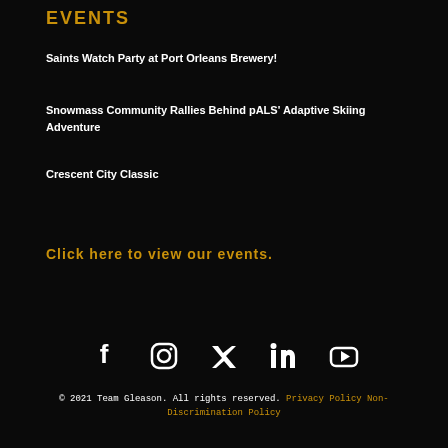EVENTS
Saints Watch Party at Port Orleans Brewery!
Snowmass Community Rallies Behind pALS' Adaptive Skiing Adventure
Crescent City Classic
Click here to view our events.
[Figure (other): Social media icons: Facebook, Instagram, Twitter, LinkedIn, YouTube]
© 2021 Team Gleason. All rights reserved. Privacy Policy Non-Discrimination Policy